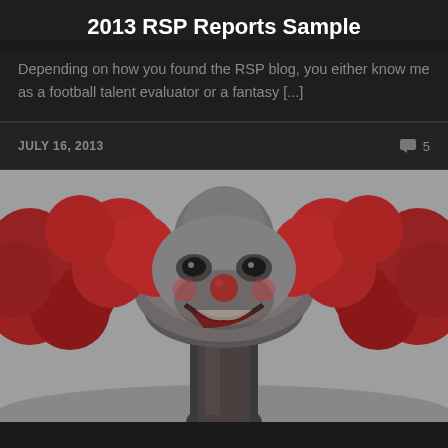2013 RSP Reports Sample
Depending on how you found the RSP blog, you either know me as a football talent evaluator or a fantasy [...]
JULY 16, 2013
5
[Figure (photo): A surreal digital artwork depicting a mushroom cloud from a nuclear explosion shaped like a sinister clown face, with red billowing clouds forming the hair/sides, a grey mushroom cap shaped like a clown head with red nose, and a dark smoke column forming the body/stem, set against a grey sky.]